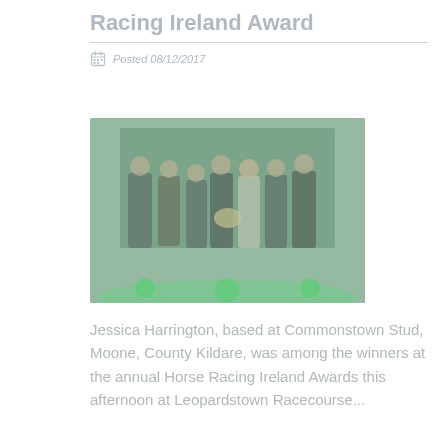Racing Ireland Award
Posted 08/12/2017
[Figure (photo): Group photo of seven people in formal attire at the annual Horse Racing Ireland Awards ceremony, standing in front of a green-lit backdrop. They appear to be holding a trophy/award together.]
Jessica Harrington, based at Commonstown Stud, Moone, County Kildare, was among the winners at the annual Horse Racing Ireland Awards this afternoon at Leopardstown Racecourse...